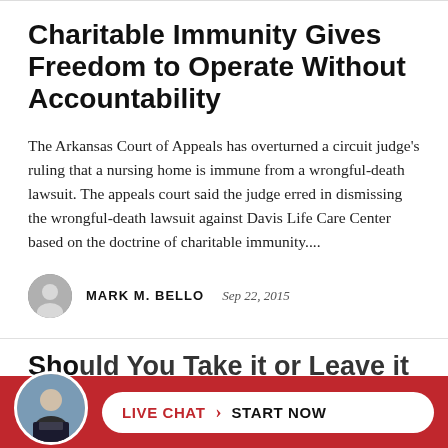Charitable Immunity Gives Freedom to Operate Without Accountability
The Arkansas Court of Appeals has overturned a circuit judge’s ruling that a nursing home is immune from a wrongful-death lawsuit. The appeals court said the judge erred in dismissing the wrongful-death lawsuit against Davis Life Care Center based on the doctrine of charitable immunity....
MARK M. BELLO  Sep 22, 2015
Should You Take it or Leave it
LIVE CHAT ❯ START NOW